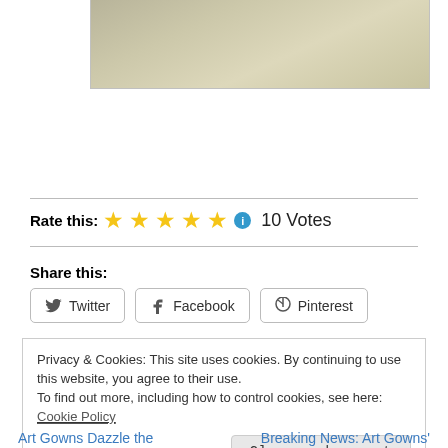[Figure (photo): Partial view of a photograph or artwork, showing a light beige/tan surface with faint sketch lines]
Rate this: ★★★★★ ℹ 10 Votes
Share this:
Twitter  Facebook  Pinterest
Privacy & Cookies: This site uses cookies. By continuing to use this website, you agree to their use.
To find out more, including how to control cookies, see here: Cookie Policy
Close and accept
Art Gowns Dazzle the
Breaking News: Art Gowns'